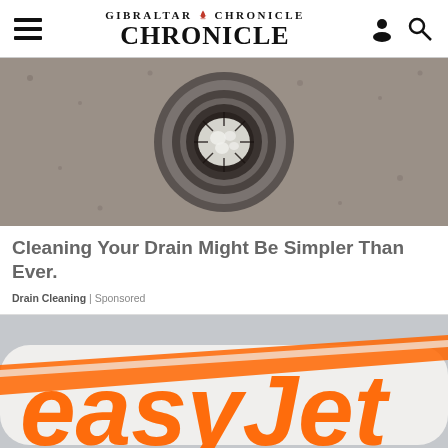GIBRALTAR CHRONICLE
[Figure (photo): Close-up photograph of a kitchen sink drain with soap suds/foam, metal grate with circular patterns, water droplets on stainless steel surface]
Cleaning Your Drain Might Be Simpler Than Ever.
Drain Cleaning | Sponsored
[Figure (photo): Close-up photograph of an easyJet aircraft fuselage showing the orange and white easyJet logo lettering]